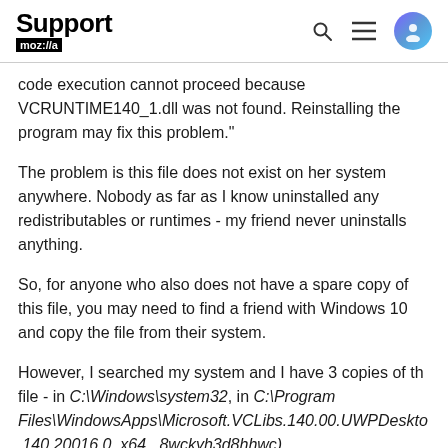Support moz://a
code execution cannot proceed because VCRUNTIME140_1.dll was not found. Reinstalling the program may fix this problem."
The problem is this file does not exist on her system anywhere. Nobody as far as I know uninstalled any redistributables or runtimes - my friend never uninstalls anything.
So, for anyone who also does not have a spare copy of this file, you may need to find a friend with Windows 10 and copy the file from their system.
However, I searched my system and I have 3 copies of th file - in C:\Windows\system32, in C:\Program Files\WindowsApps\Microsoft.VCLibs.140.00.UWPDeskto .140.20016.0_x64_ 8wckyh3d8hhwc)